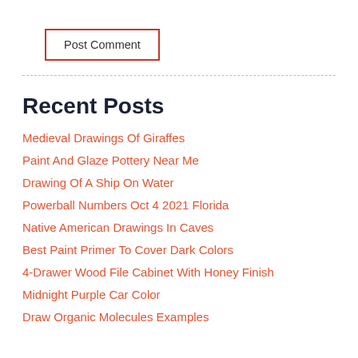Post Comment
Recent Posts
Medieval Drawings Of Giraffes
Paint And Glaze Pottery Near Me
Drawing Of A Ship On Water
Powerball Numbers Oct 4 2021 Florida
Native American Drawings In Caves
Best Paint Primer To Cover Dark Colors
4-Drawer Wood File Cabinet With Honey Finish
Midnight Purple Car Color
Draw Organic Molecules Examples